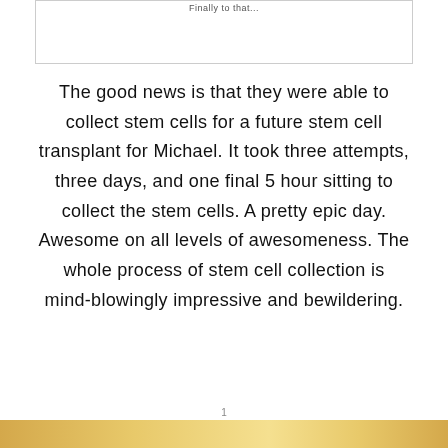The good news is that they were able to collect stem cells for a future stem cell transplant for Michael.  It took three attempts, three days, and one final 5 hour sitting to collect the stem cells.  A pretty epic day.  Awesome on all levels of awesomeness.  The whole process of stem cell collection is mind-blowingly impressive and bewildering.